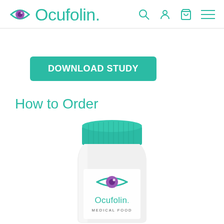Ocufolin.
DOWNLOAD STUDY
How to Order
[Figure (photo): White pill bottle with teal cap and Ocufolin logo (purple eye and teal text) with 'MEDICAL FOOD' label]